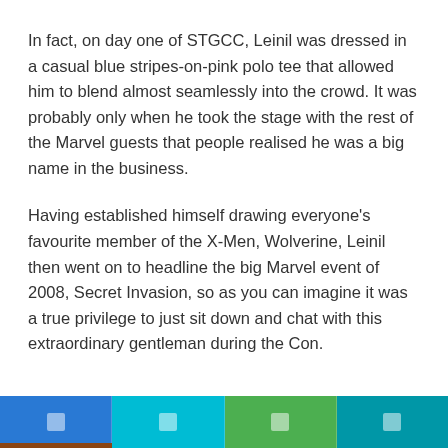In fact, on day one of STGCC, Leinil was dressed in a casual blue stripes-on-pink polo tee that allowed him to blend almost seamlessly into the crowd. It was probably only when he took the stage with the rest of the Marvel guests that people realised he was a big name in the business.
Having established himself drawing everyone's favourite member of the X-Men, Wolverine, Leinil then went on to headline the big Marvel event of 2008, Secret Invasion, so as you can imagine it was a true privilege to just sit down and chat with this extraordinary gentleman during the Con.